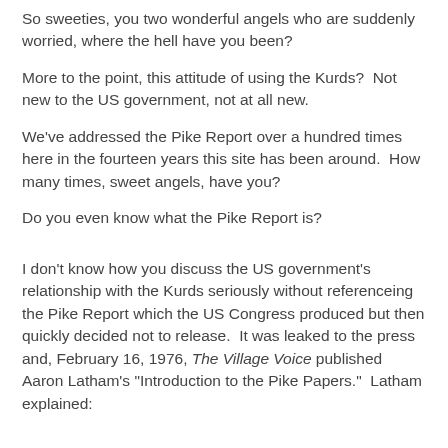So sweeties, you two wonderful angels who are suddenly worried, where the hell have you been?
More to the point, this attitude of using the Kurds?  Not new to the US government, not at all new.
We've addressed the Pike Report over a hundred times here in the fourteen years this site has been around.  How many times, sweet angels, have you?
Do you even know what the Pike Report is?
I don't know how you discuss the US government's relationship with the Kurds seriously without referenceing the Pike Report which the US Congress produced but then quickly decided not to release.  It was leaked to the press and, February 16, 1976, The Village Voice published Aaron Latham's "Introduction to the Pike Papers."  Latham explained: